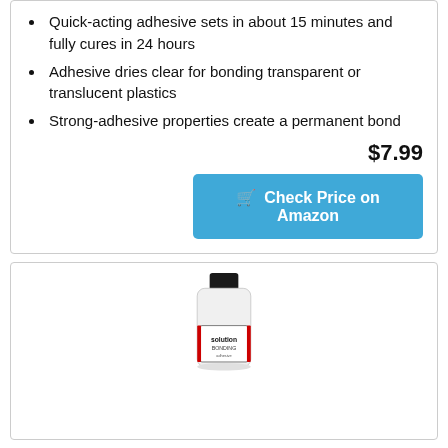Quick-acting adhesive sets in about 15 minutes and fully cures in 24 hours
Adhesive dries clear for bonding transparent or translucent plastics
Strong-adhesive properties create a permanent bond
$7.99
Check Price on Amazon
[Figure (photo): White bottle of solution adhesive product with black cap and label]